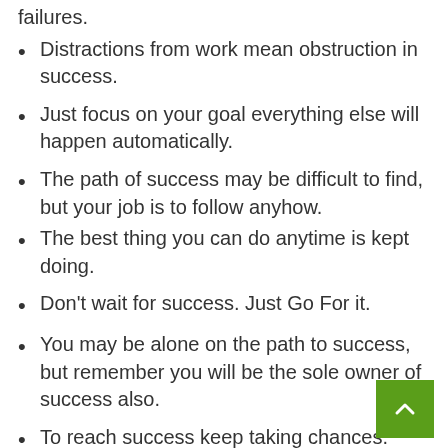failures.
Distractions from work mean obstruction in success.
Just focus on your goal everything else will happen automatically.
The path of success may be difficult to find, but your job is to follow anyhow.
The best thing you can do anytime is kept doing.
Don’t wait for success. Just Go For it.
You may be alone on the path to success, but remember you will be the sole owner of success also.
To reach success keep taking chances.